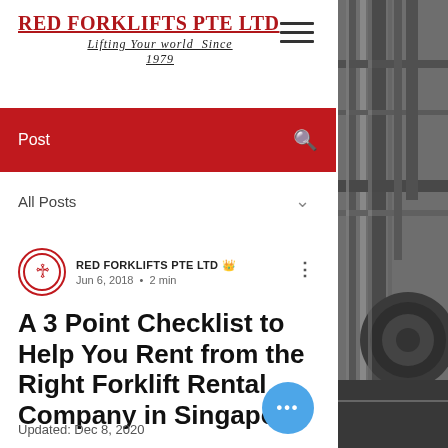RED FORKLIFTS PTE LTD
Lifting Your world Since 1979
Post
All Posts
RED FORKLIFTS PTE LTD 👑
Jun 6, 2018 · 2 min
A 3 Point Checklist to Help You Rent from the Right Forklift Rental Company in Singapore
Updated: Dec 8, 2020
[Figure (photo): Grayscale photograph of forklift machinery and industrial equipment on the right side of the page]